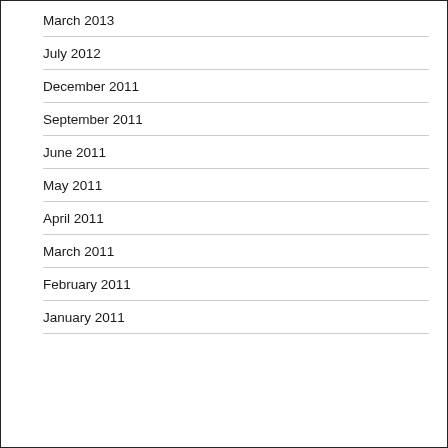March 2013
July 2012
December 2011
September 2011
June 2011
May 2011
April 2011
March 2011
February 2011
January 2011